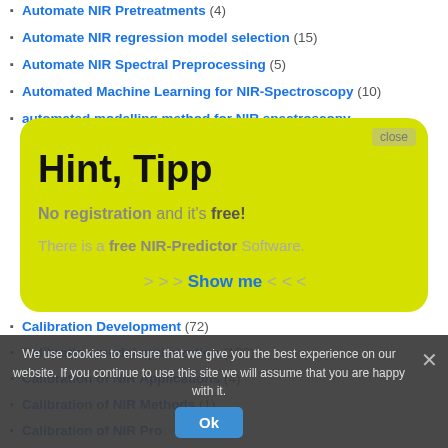Automate NIR Pretreatments (4)
Automate NIR regression model selection (15)
Automate NIR Spectral Preprocessing (5)
Automated Machine Learning for NIR-Spectroscopy (10)
automated modelling method for NIR spectroscopy
[Figure (screenshot): Yellow tooltip popup with heading 'Hint, Tipp', text 'No registration and it's free!', 'There is a free NIR-Predictor Software.', and '>>> Show me <<<' link, with a close button.]
We use cookies to ensure that we give you the best experience on our website. If you continue to use this site we will assume that you are happy with it.
Calibration Development (72)
Calibration model optimization (100)
Calibration of NIR Applications (4)
Calibration of NIR Methods (1)
Calibration of NIR Processes